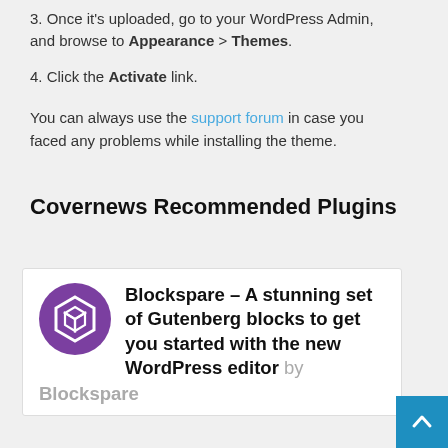3. Once it's uploaded, go to your WordPress Admin, and browse to Appearance > Themes.
4. Click the Activate link.
You can always use the support forum in case you faced any problems while installing the theme.
Covernews Recommended Plugins
[Figure (logo): Blockspare plugin logo - purple circle with stylized 3D box/cube icon]
Blockspare – A stunning set of Gutenberg blocks to get you started with the new WordPress editor by Blockspare